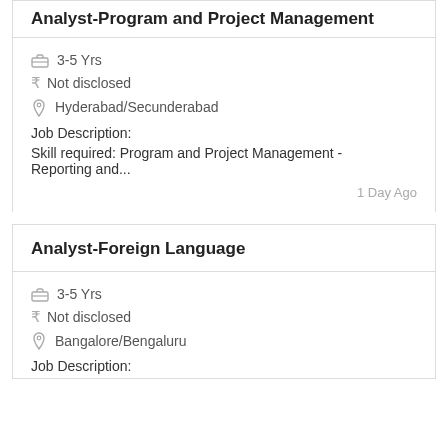Analyst-Program and Project Management
3-5 Yrs
Not disclosed
Hyderabad/Secunderabad
Job Description:
Skill required: Program and Project Management - Reporting and...
1 Day Ago
Analyst-Foreign Language
3-5 Yrs
Not disclosed
Bangalore/Bengaluru
Job Description: